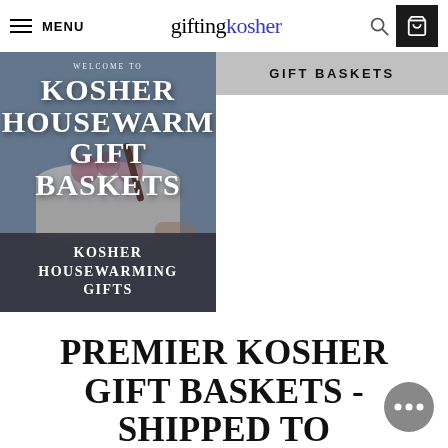MENU | giftingkosher
[Figure (photo): Promotional card showing a kosher housewarming gift basket with a decorated cake, overlaid with bold white text reading KOSHER HOUSEWARMING GIFT BASKETS, and a dark label at the bottom reading KOSHER HOUSEWARMING GIFTS]
GIFT BASKETS
PREMIER KOSHER GIFT BASKETS - SHIPPED TO POMPANO BEACH,